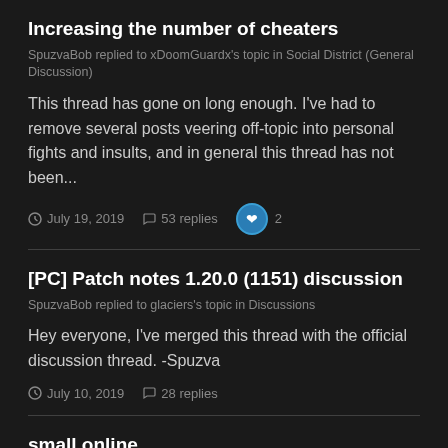Increasing the number of cheaters
SpuzvaBob replied to xDoomGuardx's topic in Social District (General Discussion)
This thread has gone on long enough. I've had to remove several posts veering off-topic into personal fights and insults, and in general this thread has not been...
July 19, 2019   53 replies   2
[PC] Patch notes 1.20.0 (1151) discussion
SpuzvaBob replied to glaciers's topic in Discussions
Hey everyone, I've merged this thread with the official discussion thread. -Spuzva
July 10, 2019   28 replies
small online